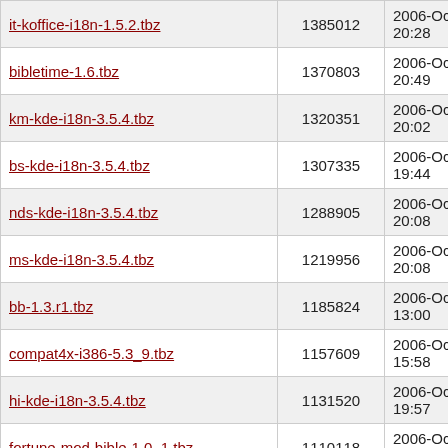| Filename | Size | Date |
| --- | --- | --- |
| it-koffice-i18n-1.5.2.tbz | 1385012 | 2006-Oct-28 20:28 |
| bibletime-1.6.tbz | 1370803 | 2006-Oct-28 20:49 |
| km-kde-i18n-3.5.4.tbz | 1320351 | 2006-Oct-28 20:02 |
| bs-kde-i18n-3.5.4.tbz | 1307335 | 2006-Oct-28 19:44 |
| nds-kde-i18n-3.5.4.tbz | 1288905 | 2006-Oct-28 20:08 |
| ms-kde-i18n-3.5.4.tbz | 1219956 | 2006-Oct-28 20:08 |
| bb-1.3.r1.tbz | 1185824 | 2006-Oct-16 13:00 |
| compat4x-i386-5.3_9.tbz | 1157609 | 2006-Oct-15 15:58 |
| hi-kde-i18n-3.5.4.tbz | 1131520 | 2006-Oct-28 19:57 |
| fortune-mod-bible-1.0_1.tbz | 1110118 | 2006-Oct-15 06:10 |
| lt-kde-i18n-3.5.4.tbz | 1103473 | 2006-Oct-28 20:04 |